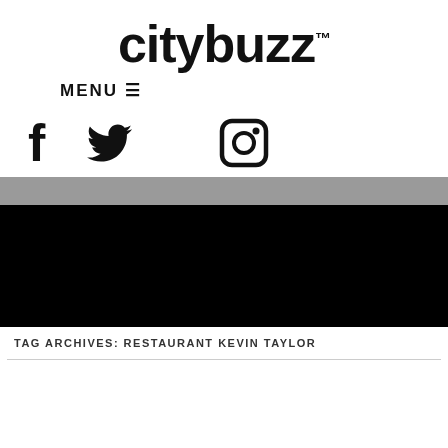citybuzz™
MENU ≡
[Figure (illustration): Social media icons: Facebook (f), Twitter (bird), Instagram (camera)]
[Figure (photo): Gray navigation/search bar]
[Figure (photo): Black rectangle image placeholder]
TAG ARCHIVES: RESTAURANT KEVIN TAYLOR